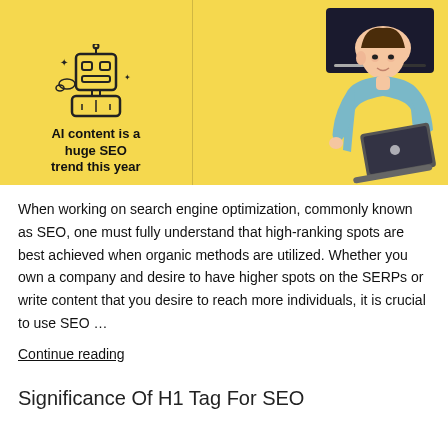[Figure (illustration): Infographic image split in two halves: left half shows a robot/AI head illustration on yellow background with bold text 'AI content is a huge SEO trend this year'; right half shows a woman with a laptop on yellow background with a video thumbnail in the upper right corner.]
When working on search engine optimization, commonly known as SEO, one must fully understand that high-ranking spots are best achieved when organic methods are utilized. Whether you own a company and desire to have higher spots on the SERPs or write content that you desire to reach more individuals, it is crucial to use SEO …
Continue reading
Significance Of H1 Tag For SEO